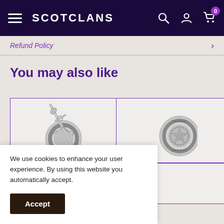SCOTCLANS
Refund Policy
You may also like
[Figure (photo): Silver Scottish clan badge/brooch with sword and Celtic knotwork design, showing partial text 'ERRANTIA·LU']
[Figure (photo): Silver Scottish clan medallion/badge showing circular design with text 'ERRANTIA·LU' and decorative elements]
We use cookies to enhance your user experience. By using this website you automatically accept.